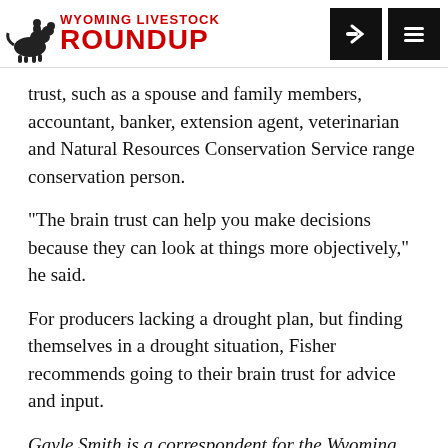Wyoming Livestock Roundup
trust, such as a spouse and family members, accountant, banker, extension agent, veterinarian and Natural Resources Conservation Service range conservation person.
“The brain trust can help you make decisions because they can look at things more objectively,” he said.
For producers lacking a drought plan, but finding themselves in a drought situation, Fisher recommends going to their brain trust for advice and input.
Gayle Smith is a correspondent for the Wyoming Livestock Roundup. Send comments to this article...